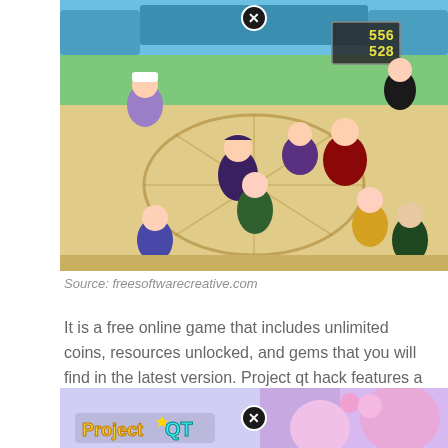[Figure (screenshot): Screenshot of Project QT mobile game showing chibi anime characters on a baseball field arena with score display showing 556/528 and a close button at the top]
Source: freesoftwarecreative.com
It is a free online game that includes unlimited coins, resources unlocked, and gems that you will find in the latest version. Project qt hack features a unique blend of.
[Figure (screenshot): Bottom screenshot showing Project QT game title logo with pink-haired anime character and another character with purple/pink hair, with a close button overlay]